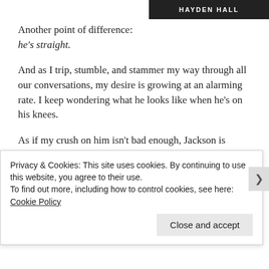[Figure (other): Dark banner image with text HAYDEN HALL in white capital letters on dark background]
Another point of difference:
he's straight.

And as I trip, stumble, and stammer my way through all our conversations, my desire is growing at an alarming rate. I keep wondering what he looks like when he's on his knees.

As if my crush on him isn't bad enough, Jackson is assigned to be my partner on a year-long project, and I have no choice but to spend time with the hottest guy on campus. Bummer.

But the attraction is intensifying. We're on a collision course. I
Privacy & Cookies: This site uses cookies. By continuing to use this website, you agree to their use.
To find out more, including how to control cookies, see here: Cookie Policy
Close and accept